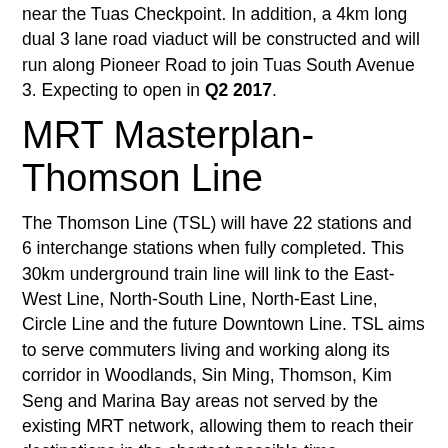near the Tuas Checkpoint. In addition, a 4km long dual 3 lane road viaduct will be constructed and will run along Pioneer Road to join Tuas South Avenue 3. Expecting to open in Q2 2017.
MRT Masterplan-Thomson Line
The Thomson Line (TSL) will have 22 stations and 6 interchange stations when fully completed. This 30km underground train line will link to the East-West Line, North-South Line, North-East Line, Circle Line and the future Downtown Line. TSL aims to serve commuters living and working along its corridor in Woodlands, Sin Ming, Thomson, Kim Seng and Marina Bay areas not served by the existing MRT network, allowing them to reach their destinations in the shortest possible time.
Status of Thomson Line
2019: Stage 1 (Woodlands North- Woodlands South), first 3 stations will be opened.